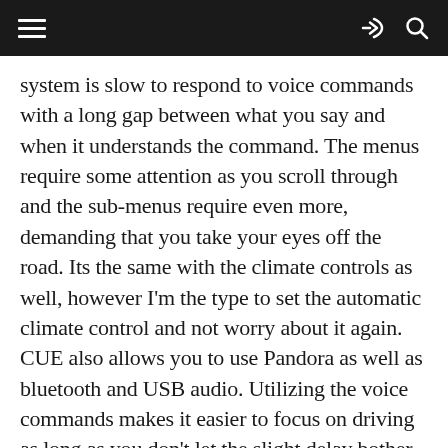[navigation bar with hamburger menu, share icon, and search icon]
system is slow to respond to voice commands with a long gap between what you say and when it understands the command. The menus require some attention as you scroll through and the sub-menus require even more, demanding that you take your eyes off the road. Its the same with the climate controls as well, however I'm the type to set the automatic climate control and not worry about it again. CUE also allows you to use Pandora as well as bluetooth and USB audio. Utilizing the voice commands makes it easier to focus on driving as long as you don't let the slight delay bother you. When using the touchscreen, it pushes back against your finger letting you know that your selection has been